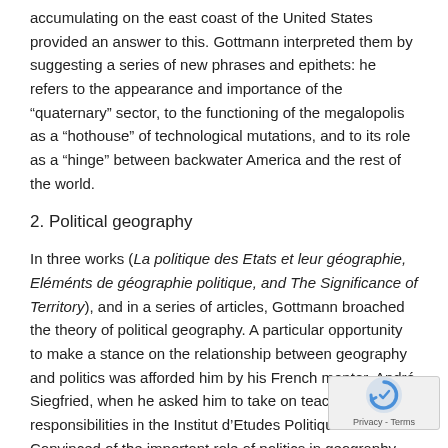accumulating on the east coast of the United States provided an answer to this. Gottmann interpreted them by suggesting a series of new phrases and epithets: he refers to the appearance and importance of the “quaternary” sector, to the functioning of the megalopolis as a “hothouse” of technological mutations, and to its role as a “hinge” between backwater America and the rest of the world.
2. Political geography
In three works (La politique des Etats et leur géographie, Eléménts de géographie politique, and The Significance of Territory), and in a series of articles, Gottmann broached the theory of political geography. A particular opportunity to make a stance on the relationship between geography and politics was afforded him by his French mentor, André Siegfried, when he asked him to take on teaching responsibilities in the Institut d’Etudes Politiques in Paris. Convinced of the important role of politics in geography, Gottmann thus sought to intervene in the general debate on geographical theory.
After the Second World War, this question was at the heart of geographers’ concerns. Gottmann remained aloof from the